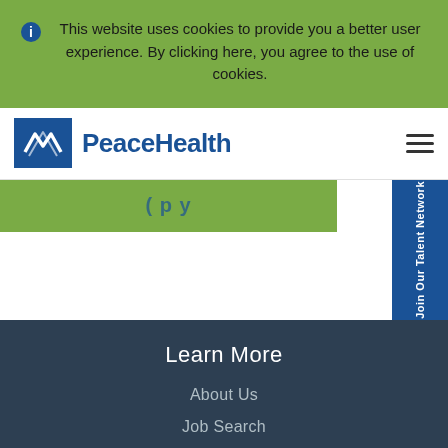This website uses cookies to provide you a better user experience. By clicking here, you agree to the use of cookies.
[Figure (logo): PeaceHealth logo with blue dove icon and blue text on white nav bar]
[Figure (screenshot): Green bar with partial text visible, blue 'Join Our Talent Network' sidebar button]
Learn More
About Us
Job Search